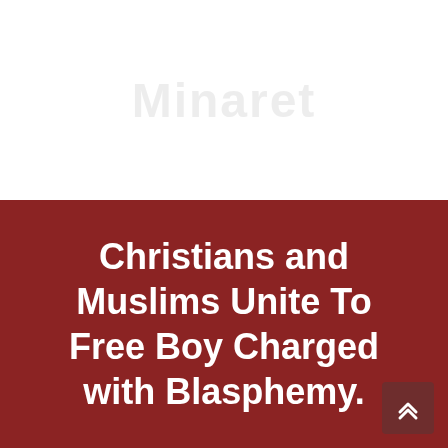[Figure (other): Light watermark/faded text in the white upper section of the image, partially visible]
Christians and Muslims Unite To Free Boy Charged with Blasphemy.